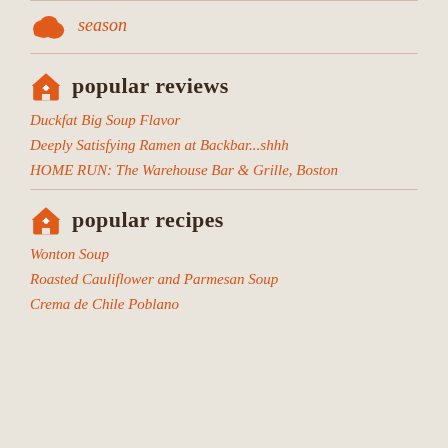season
popular reviews
Duckfat Big Soup Flavor
Deeply Satisfying Ramen at Backbar...shhh
HOME RUN: The Warehouse Bar & Grille, Boston
popular recipes
Wonton Soup
Roasted Cauliflower and Parmesan Soup
Crema de Chile Poblano